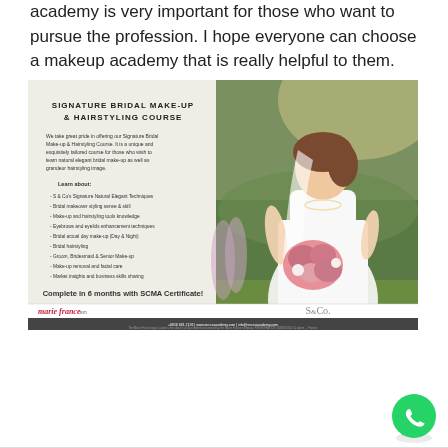academy is very important for those who want to pursue the profession. I hope everyone can choose a makeup academy that is really helpful to them.
[Figure (photo): Advertisement for Signature Bridal Make-Up & Hairstyling Course by S&Co. Make-up Academy. Features text about the course on the left side over a light background, and a photo of a bride in a white dress holding pink flowers on the right side. Bottom of ad shows Marie France logo, S&Co logo, and contact details. A WhatsApp icon appears in the bottom right of the page.]